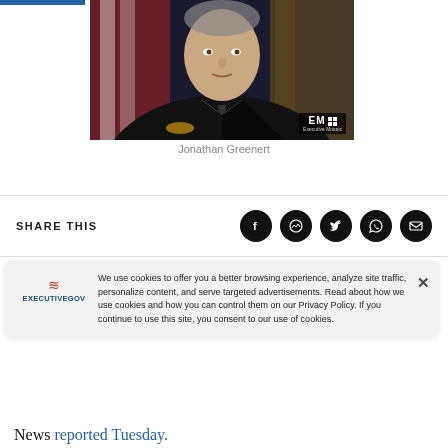[Figure (photo): Portrait photo of Jonathan Greenert in Navy uniform with American flag and another flag in background. Executive Mosaic logo watermark in bottom right corner.]
Jonathan Greenert
SHARE THIS
We use cookies to offer you a better browsing experience, analyze site traffic, personalize content, and serve targeted advertisements. Read about how we use cookies and how you can control them on our Privacy Policy. If you continue to use this site, you consent to our use of cookies.
News reported Tuesday.